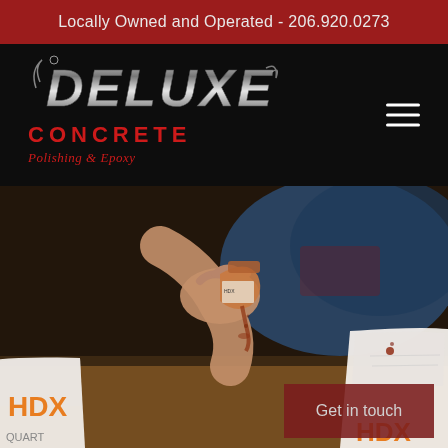Locally Owned and Operated - 206.920.0273
[Figure (logo): Deluxe Concrete Polishing & Epoxy logo in metallic silver and red on black background, with hamburger menu icon on the right]
[Figure (photo): Close-up photo of a person's hand pouring colored pigment from a metal container into a white HDX measuring cup on a wooden surface, with another HDX quart cup in the foreground]
Get in touch